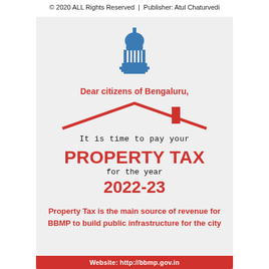© 2020 ALL Rights Reserved | Publisher: Atul Chaturvedi
[Figure (illustration): Blue illustrated dome/capitol building icon]
Dear citizens of Bengaluru,
[Figure (illustration): Red outline of a house roof with chimney]
It is time to pay your
PROPERTY TAX
for the year
2022-23
Property Tax is the main source of revenue for BBMP to build public infrastructure for the city
Website: http://bbmp.gov.in